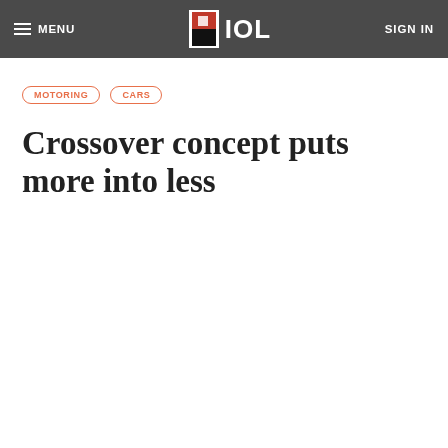MENU | IOL | SIGN IN
MOTORING
CARS
Crossover concept puts more into less